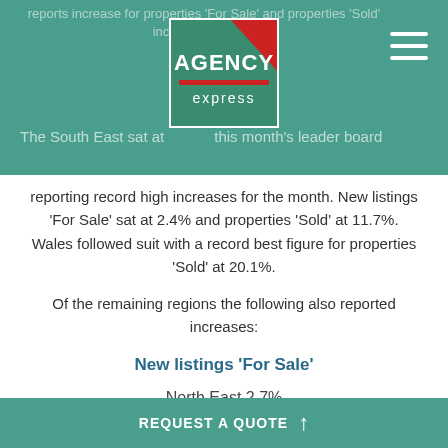reports increase for properties 'For Sale' and properties 'Sold' increase for 'Sold' The South East sat at this month's leader board
[Figure (logo): Agency Express logo — green square with red diagonal triangle, white text 'AGENCY' and 'express']
reporting record high increases for the month. New listings 'For Sale' sat at 2.4% and properties 'Sold' at 11.7%. Wales followed suit with a record best figure for properties 'Sold' at 20.1%.
Of the remaining regions the following also reported increases:
New listings ‘For Sale’
North East 2.7%
Properties ‘Sold’
South West 1.3%
REQUEST A QUOTE ↑